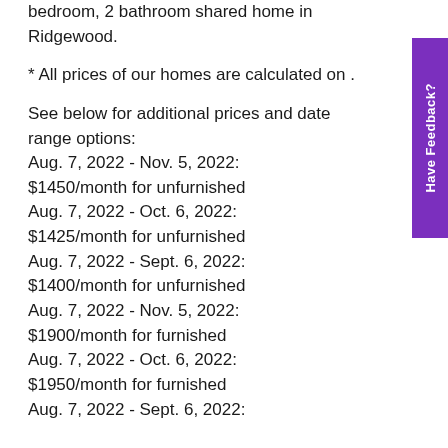bedroom, 2 bathroom shared home in Ridgewood.
* All prices of our homes are calculated on .
See below for additional prices and date range options: Aug. 7, 2022 - Nov. 5, 2022: $1450/month for unfurnished Aug. 7, 2022 - Oct. 6, 2022: $1425/month for unfurnished Aug. 7, 2022 - Sept. 6, 2022: $1400/month for unfurnished Aug. 7, 2022 - Nov. 5, 2022: $1900/month for furnished Aug. 7, 2022 - Oct. 6, 2022: $1950/month for furnished Aug. 7, 2022 - Sept. 6, 2022: